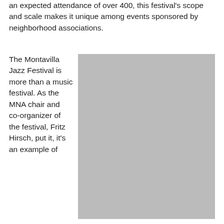an expected attendance of over 400, this festival's scope and scale makes it unique among events sponsored by neighborhood associations.
The Montavilla Jazz Festival is more than a music festival. As the MNA chair and co-organizer of the festival, Fritz Hirsch, put it, it's an example of
[Figure (photo): A large gray placeholder image representing a photograph related to the Montavilla Jazz Festival]